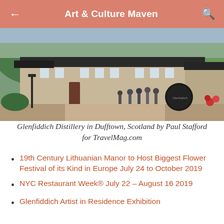Art & Culture Maven
[Figure (photo): Glenfiddich Distillery in Dufftown, Scotland — stone buildings with tourists in courtyard, trees and hills in background, large barrel visible]
Glenfiddich Distillery in Dufftown, Scotland by Paul Stafford for TravelMag.com
19th Century Lithuanian Manor to Host Biggest Flower Festival of its Kind in Europe July 24 to October 2019
NYC Restaurant Week® July 22 – August 16 2019
Glenfiddich Artist in Residence Exhibition